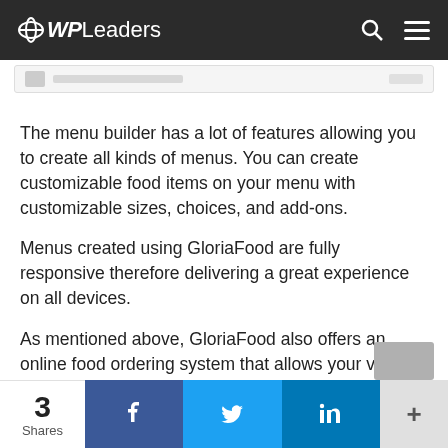WPLeaders
[Figure (screenshot): Partial screenshot of a food menu builder interface showing a row with a thumbnail image, text label, and a badge/price element on the right.]
The menu builder has a lot of features allowing you to create all kinds of menus. You can create customizable food items on your menu with customizable sizes, choices, and add-ons.
Menus created using GloriaFood are fully responsive therefore delivering a great experience on all devices.
As mentioned above, GloriaFood also offers an online food ordering system that allows your visitors to order online.
3 Shares  [Facebook share] [Twitter share] [LinkedIn share] [More]